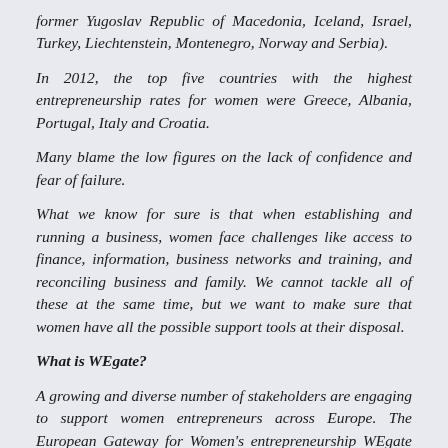former Yugoslav Republic of Macedonia, Iceland, Israel, Turkey, Liechtenstein, Montenegro, Norway and Serbia).
In 2012, the top five countries with the highest entrepreneurship rates for women were Greece, Albania, Portugal, Italy and Croatia.
Many blame the low figures on the lack of confidence and fear of failure.
What we know for sure is that when establishing and running a business, women face challenges like access to finance, information, business networks and training, and reconciling business and family. We cannot tackle all of these at the same time, but we want to make sure that women have all the possible support tools at their disposal.
What is WEgate?
A growing and diverse number of stakeholders are engaging to support women entrepreneurs across Europe. The European Gateway for Women's entrepreneurship WEgate is an e-platform launched